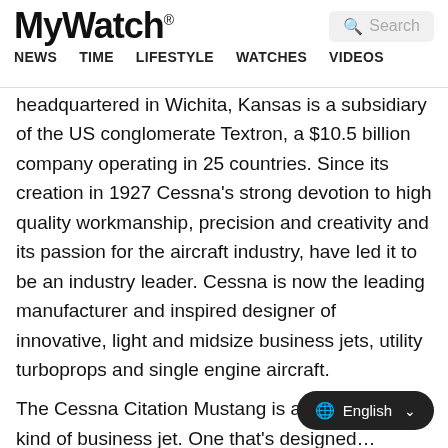MyWatch® NEWS TIME LIFESTYLE WATCHES VIDEOS
headquartered in Wichita, Kansas is a subsidiary of the US conglomerate Textron, a $10.5 billion company operating in 25 countries. Since its creation in 1927 Cessna's strong devotion to high quality workmanship, precision and creativity and its passion for the aircraft industry, have led it to be an industry leader. Cessna is now the leading manufacturer and inspired designer of innovative, light and midsize business jets, utility turboprops and single engine aircraft.
The Cessna Citation Mustang is an entirely new kind of business jet. One that's designed... bring the dream of jet ownership comfortably within